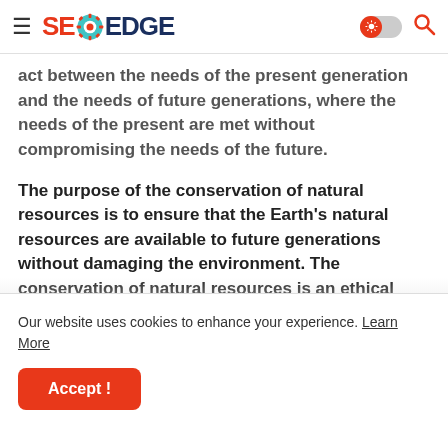SEO EDGE
act between the needs of the present generation and the needs of future generations, where the needs of the present are met without compromising the needs of the future.
The purpose of the conservation of natural resources is to ensure that the Earth's natural resources are available to future generations without damaging the environment. The conservation of natural resources is an ethical issue and is one of the primary goals of
Our website uses cookies to enhance your experience. Learn More
Accept !